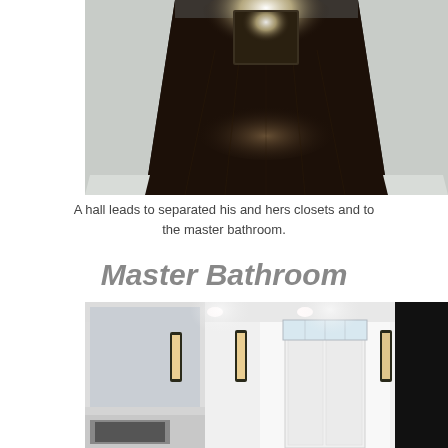[Figure (photo): Dark hardwood hallway corridor leading towards a light at the end, with white walls and baseboards on both sides]
A hall leads to separated his and hers closets and to the master bathroom.
Master Bathroom
[Figure (photo): Bright white master bathroom interior with wall sconce lights, mirrors, vanity cabinets and a small window with a door in the center background. Right side is dark/black.]